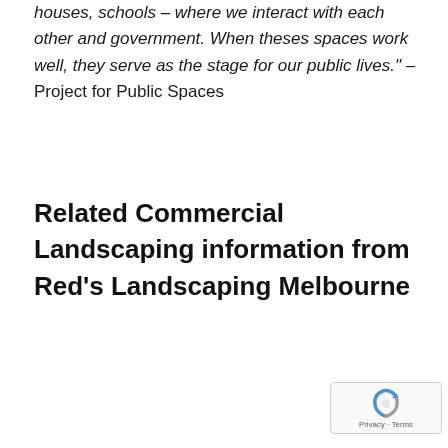houses, schools – where we interact with each other and government. When theses spaces work well, they serve as the stage for our public lives." – Project for Public Spaces
Related Commercial Landscaping information from Red's Landscaping Melbourne
[Figure (logo): reCAPTCHA badge with circular arrow logo and Privacy · Terms text]